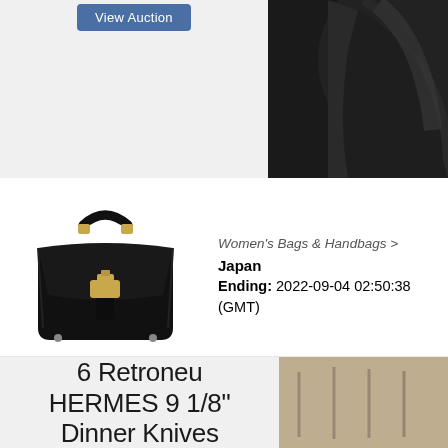[Figure (screenshot): Top auction card showing a 'View Auction' button on a grey background (left) and a close-up of a black leather bag on a dark background (right)]
[Figure (photo): Black Hermes Kelly handbag with gold hardware, shown from the front at an angle]
Women's Bags & Handbags > Japan Ending: 2022-09-04 02:50:38 (GMT)
[Figure (screenshot): Bottom auction card left side showing title '6 Retroneu HERMES 9 1/8" Dinner Knives' on grey background]
[Figure (photo): Close-up of what appears to be silverware/dinner knives on a tan/beige surface]